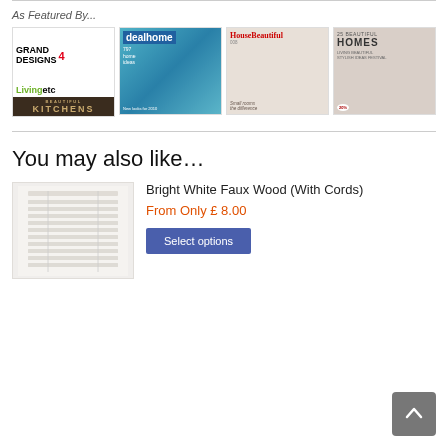As Featured By...
[Figure (photo): Four magazine covers shown side by side: Grand Designs / Livingetc / Beautiful Kitchens collage, dealhome, HouseBeautiful, 25 Beautiful Homes]
You may also like…
[Figure (photo): White faux wood venetian blind with cords]
Bright White Faux Wood (With Cords)
From Only £ 8.00
Select options